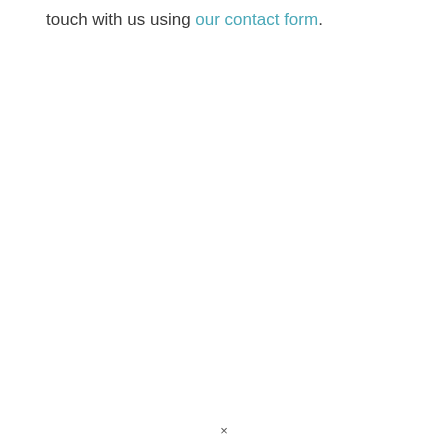touch with us using our contact form.
×